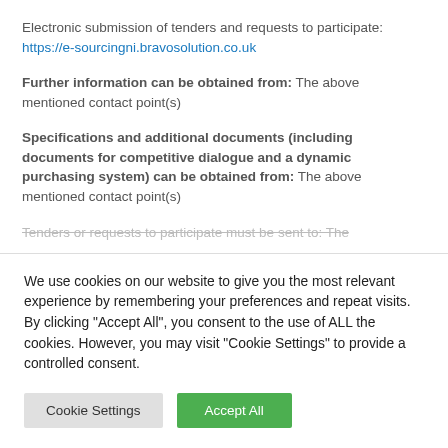Electronic submission of tenders and requests to participate: https://e-sourcingni.bravosolution.co.uk
Further information can be obtained from: The above mentioned contact point(s)
Specifications and additional documents (including documents for competitive dialogue and a dynamic purchasing system) can be obtained from: The above mentioned contact point(s)
Tenders or requests to participate must be sent to: The
We use cookies on our website to give you the most relevant experience by remembering your preferences and repeat visits. By clicking "Accept All", you consent to the use of ALL the cookies. However, you may visit "Cookie Settings" to provide a controlled consent.